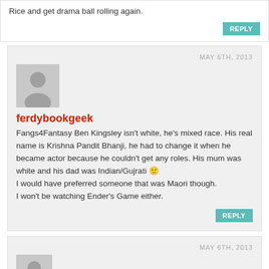Rice and get drama ball rolling again.
REPLY
MAY 6TH, 2013
[Figure (illustration): Generic grey avatar placeholder with person silhouette icon]
ferdybookgeek
Fangs4Fantasy Ben Kingsley isn't white, he's mixed race. His real name is Krishna Pandit Bhanji, he had to change it when he became actor because he couldn't get any roles. His mum was white and his dad was Indian/Gujrati 🙂
I would have preferred someone that was Maori though.
I won't be watching Ender's Game either.
REPLY
MAY 6TH, 2013
[Figure (illustration): Generic grey avatar placeholder with person silhouette icon]